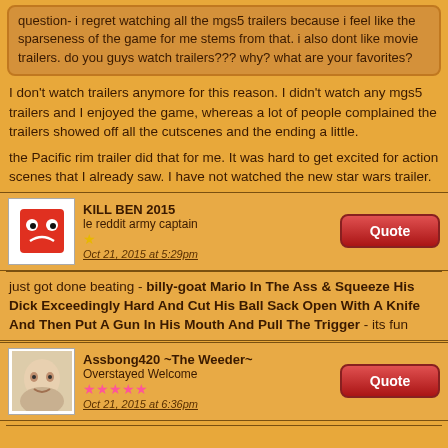question- i regret watching all the mgs5 trailers because i feel like the sparseness of the game for me stems from that. i also dont like movie trailers. do you guys watch trailers??? why? what are your favorites?
I don't watch trailers anymore for this reason. I didn't watch any mgs5 trailers and I enjoyed the game, whereas a lot of people complained the trailers showed off all the cutscenes and the ending a little.
the Pacific rim trailer did that for me. It was hard to get excited for action scenes that I already saw. I have not watched the new star wars trailer.
KILL BEN 2015
le reddit army captain
Oct 21, 2015 at 5:29pm
just got done beating - billy-goat Mario In The Ass & Squeeze His Dick Exceedingly Hard And Cut His Ball Sack Open With A Knife And Then Put A Gun In His Mouth And Pull The Trigger - its fun
Assbong420 ~The Weeder~
Overstayed Welcome
Oct 21, 2015 at 6:36pm